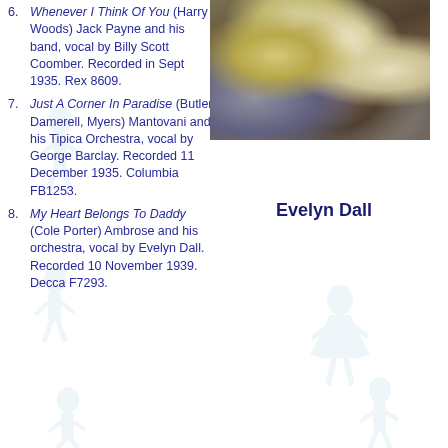6. Whenever I Think Of You (Harry Woods) Jack Payne and his band, vocal by Billy Scott Coomber. Recorded in Sept 1935. Rex 8609.
7. Just A Corner In Paradise (Butler, Damerell, Myers) Mantovani and his Tipica Orchestra, vocal by George Barclay. Recorded 11 December 1935. Columbia FB1253.
8. My Heart Belongs To Daddy (Cole Porter) Ambrose and his orchestra, vocal by Evelyn Dall. Recorded 10 November 1939. Decca F7293.
[Figure (photo): Close-up photograph of dried or wild flowers in muted yellow, white and purple tones against a dark brown background.]
Evelyn Dall